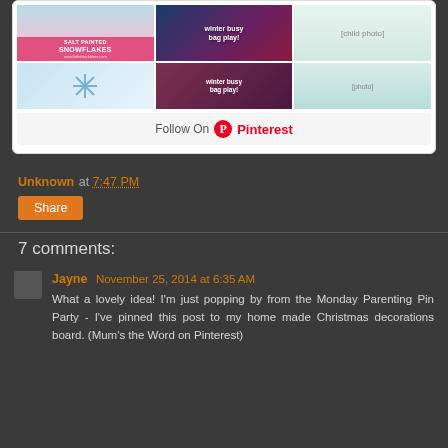[Figure (screenshot): Pinterest widget showing a grid of winter/Christmas themed pin images including Salt Painted Snowflakes, Winter Busy Bag Play, and a child at a sensory table, with a Follow On Pinterest button below]
Unknown at 7:47 PM
Share
7 comments:
Jayne November 25, 2014 at 6:35 AM
What a lovely idea! I'm just popping by from the Monday Parenting Pin Party - I've pinned this post to my home made Christmas decorations board. (Mum's the Word on Pinterest)